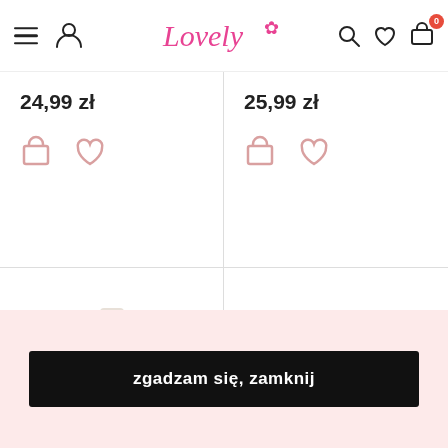Lovely — navigation header with hamburger, logo, search, wishlist, cart (0)
24,99 zł
25,99 zł
[Figure (photo): White cosmetic tube/squeeze bottle product on white background]
[Figure (photo): Lovely Vegan Loose Powder Setting Powder in green round compact with leaf pattern]
zgadzam się, zamknij